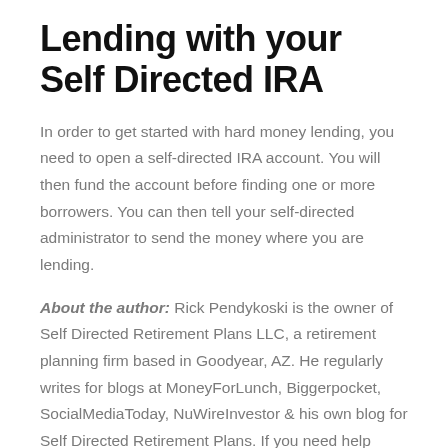Lending with your Self Directed IRA
In order to get started with hard money lending, you need to open a self-directed IRA account. You will then fund the account before finding one or more borrowers. You can then tell your self-directed administrator to send the money where you are lending.
About the author: Rick Pendykoski is the owner of Self Directed Retirement Plans LLC, a retirement planning firm based in Goodyear, AZ. He regularly writes for blogs at MoneyForLunch, Biggerpocket, SocialMediaToday, NuWireInvestor & his own blog for Self Directed Retirement Plans. If you need help